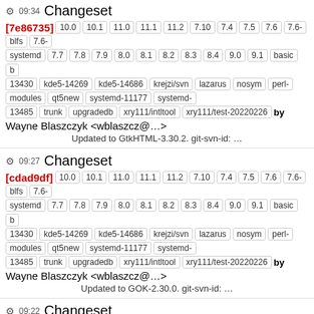09:34 Changeset
[7e86735] 10.0 10.1 11.0 11.1 11.2 7.10 7.4 7.5 7.6 7.6- blfs 7.6- systemd 7.7 7.8 7.9 8.0 8.1 8.2 8.3 8.4 9.0 9.1 basic b 13430 kde5-14269 kde5-14686 krejzi/svn lazarus nosym perl-modules qt5new systemd-11177 systemd-13485 trunk upgradedb xry111/intltool xry111/test-20220226 by Wayne Blaszczyk <wblaszcz@...>
Updated to GtkHTML-3.30.2. git-svn-id: ...
09:27 Changeset
[cdad9df] 10.0 10.1 11.0 11.1 11.2 7.10 7.4 7.5 7.6 7.6- blfs 7.6- systemd 7.7 7.8 7.9 8.0 8.1 8.2 8.3 8.4 9.0 9.1 basic b 13430 kde5-14269 kde5-14686 krejzi/svn lazarus nosym perl-modules qt5new systemd-11177 systemd-13485 trunk upgradedb xry111/intltool xry111/test-20220226 by Wayne Blaszczyk <wblaszcz@...>
Updated to GOK-2.30.0. git-svn-id: ...
09:22 Changeset